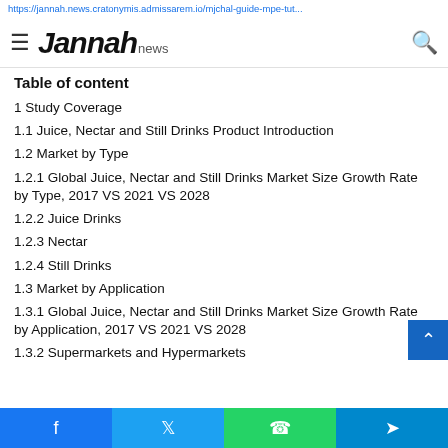https://jannah.news ... Jannah news
Table of content
1 Study Coverage
1.1 Juice, Nectar and Still Drinks Product Introduction
1.2 Market by Type
1.2.1 Global Juice, Nectar and Still Drinks Market Size Growth Rate by Type, 2017 VS 2021 VS 2028
1.2.2 Juice Drinks
1.2.3 Nectar
1.2.4 Still Drinks
1.3 Market by Application
1.3.1 Global Juice, Nectar and Still Drinks Market Size Growth Rate by Application, 2017 VS 2021 VS 2028
1.3.2 Supermarkets and Hypermarkets
Facebook | Twitter | WhatsApp | Telegram